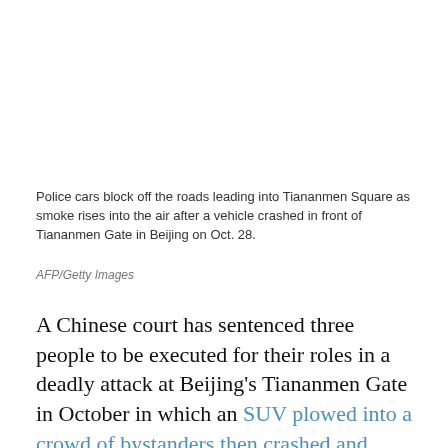Police cars block off the roads leading into Tiananmen Square as smoke rises into the air after a vehicle crashed in front of Tiananmen Gate in Beijing on Oct. 28.
AFP/Getty Images
A Chinese court has sentenced three people to be executed for their roles in a deadly attack at Beijing's Tiananmen Gate in October in which an SUV plowed into a crowd of bystanders then crashed and burst into flames, killing five and wounding 40.